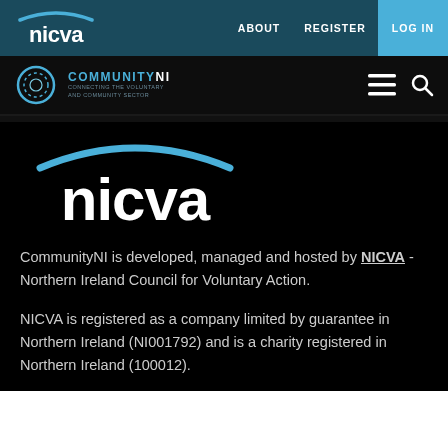NICVA | ABOUT | REGISTER | LOG IN
COMMUNITYNI - Connecting the voluntary and community sector
[Figure (logo): NICVA logo large white text with cyan arc on black background]
CommunityNI is developed, managed and hosted by NICVA - Northern Ireland Council for Voluntary Action.
NICVA is registered as a company limited by guarantee in Northern Ireland (NI001792) and is a charity registered in Northern Ireland (100012).